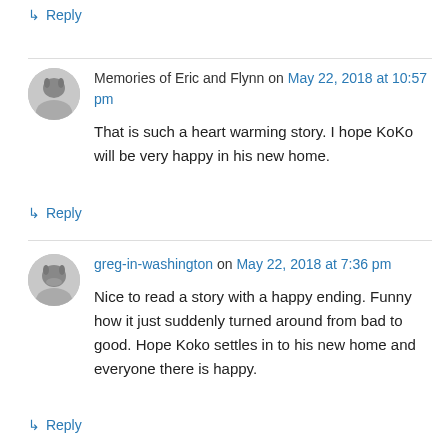↳ Reply
Memories of Eric and Flynn on May 22, 2018 at 10:57 pm
That is such a heart warming story. I hope KoKo will be very happy in his new home.
↳ Reply
greg-in-washington on May 22, 2018 at 7:36 pm
Nice to read a story with a happy ending. Funny how it just suddenly turned around from bad to good. Hope Koko settles in to his new home and everyone there is happy.
↳ Reply